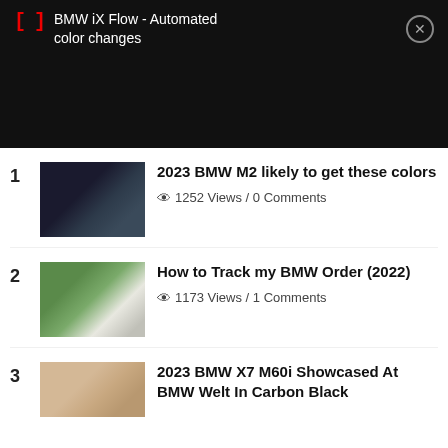[Figure (screenshot): Video player banner with black background showing BMW iX Flow - Automated color changes title with bracket icon and close button]
1 - 2023 BMW M2 likely to get these colors - 1252 Views / 0 Comments
2 - How to Track my BMW Order (2022) - 1173 Views / 1 Comments
3 - 2023 BMW X7 M60i Showcased At BMW Welt In Carbon Black